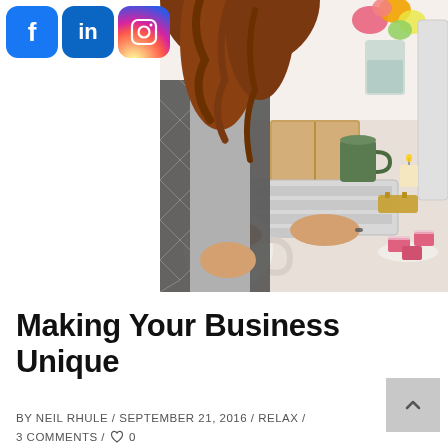[Figure (photo): Woman with curly hair sitting at a desk, typing on a laptop keyboard while holding a cup of tea. On the desk: an open book, flowers in a vase, a watch, a green cup, and a plate of pink confections.]
Making Your Business Unique
BY NEIL RHULE / SEPTEMBER 21, 2016 / RELAX /
3 COMMENTS / ♡ 0